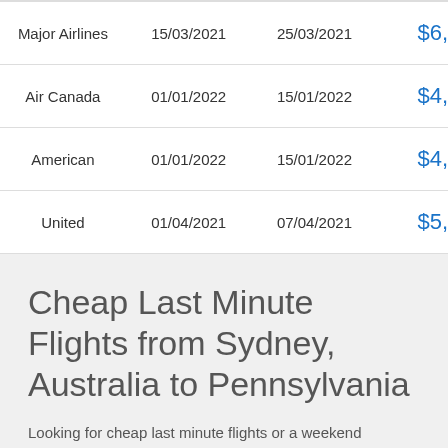| Airline | Departure | Return | Price |
| --- | --- | --- | --- |
| Major Airlines | 15/03/2021 | 25/03/2021 | $6, |
| Air Canada | 01/01/2022 | 15/01/2022 | $4, |
| American | 01/01/2022 | 15/01/2022 | $4, |
| United | 01/04/2021 | 07/04/2021 | $5, |
Cheap Last Minute Flights from Sydney, Australia to Pennsylvania
Looking for cheap last minute flights or a weekend...